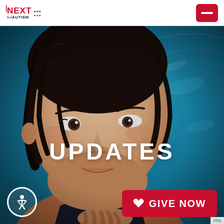NEXT for AUTISM logo and navigation menu
[Figure (photo): Close-up photo of a young woman with wet dark hair in a swimming pool, looking to the side with a slight smile, wearing a dark swimsuit, with blue pool water in the background]
UPDATES
GIVE NOW